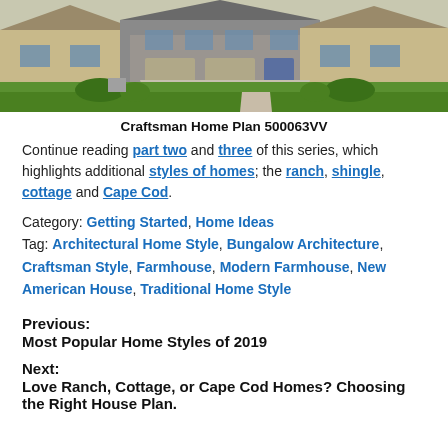[Figure (photo): Exterior photo of a Craftsman-style home with stone facade, green lawn, and attached garage units]
Craftsman Home Plan 500063VV
Continue reading part two and three of this series, which highlights additional styles of homes; the ranch, shingle, cottage and Cape Cod.
Category: Getting Started, Home Ideas
Tag: Architectural Home Style, Bungalow Architecture, Craftsman Style, Farmhouse, Modern Farmhouse, New American House, Traditional Home Style
Previous:
Most Popular Home Styles of 2019
Next:
Love Ranch, Cottage, or Cape Cod Homes? Choosing the Right House Plan.